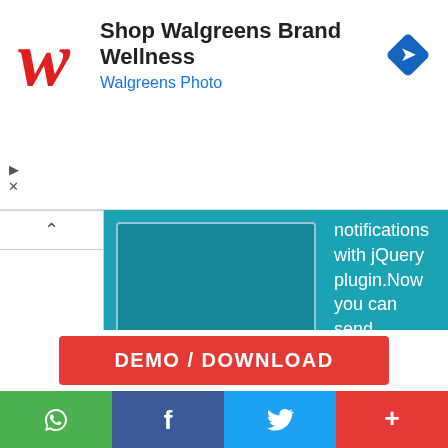[Figure (screenshot): Walgreens advertisement banner with red cursive W logo, text 'Shop Walgreens Brand Wellness' and 'Walgreens Photo' in blue, and a blue diamond navigation icon.]
notifications with jQuery plugin.Now you can send notifications of everything you want and when you want, simply and quickly.
Easy to learn and use. Customize with your favorite colors, define the size you want, se.....
Plugins
DEMO / DOWNLOAD
[Figure (screenshot): Social share bar with WhatsApp (green), Facebook (dark blue), Twitter (light blue), and more (+) (red) buttons.]